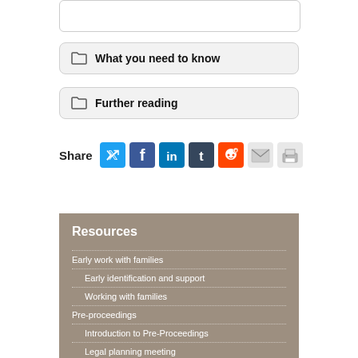[Figure (other): White rounded rectangle box at top]
What you need to know
Further reading
Share [social icons: Twitter, Facebook, LinkedIn, Tumblr, Reddit, Email, Print]
Resources
Early work with families
Early identification and support
Working with families
Pre-proceedings
Introduction to Pre-Proceedings
Legal planning meeting